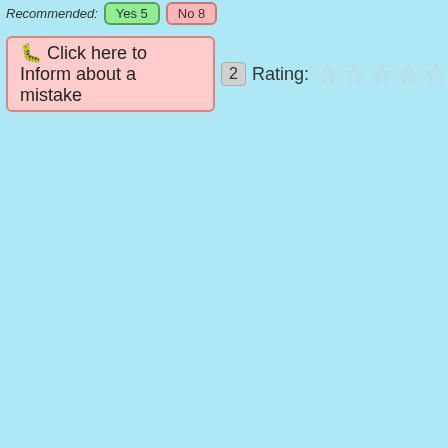Recommended: Yes 5  No 8
🐛 Click here to Inform about a mistake  2  Rating: ☆☆☆☆☆